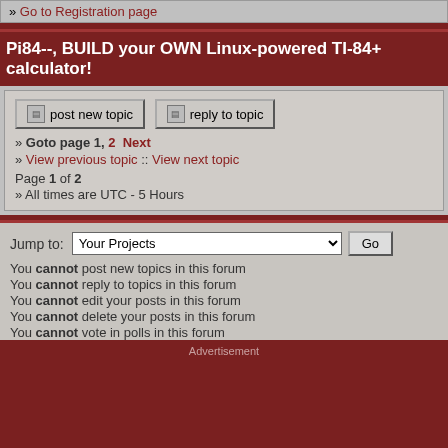» Go to Registration page
Pi84--, BUILD your OWN Linux-powered TI-84+ calculator!
post new topic   reply to topic
» Goto page 1, 2  Next
» View previous topic :: View next topic
Page 1 of 2
» All times are UTC - 5 Hours
Jump to: Your Projects  Go
You cannot post new topics in this forum
You cannot reply to topics in this forum
You cannot edit your posts in this forum
You cannot delete your posts in this forum
You cannot vote in polls in this forum
Advertisement